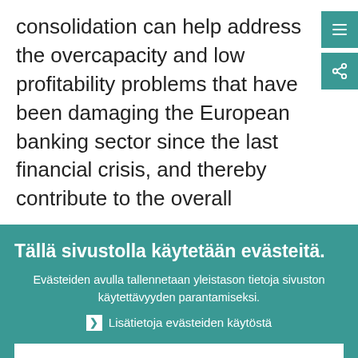consolidation can help address the overcapacity and low profitability problems that have been damaging the European banking sector since the last financial crisis, and thereby contribute to the overall
Tällä sivustolla käytetään evästeitä.
Evästeiden avulla tallennetaan yleistason tietoja sivuston käytettävyyden parantamiseksi.
Lisätietoja evästeiden käytöstä
Ymmärrän ja sallin evästeiden käytön
En salli evästeiden käyttöä